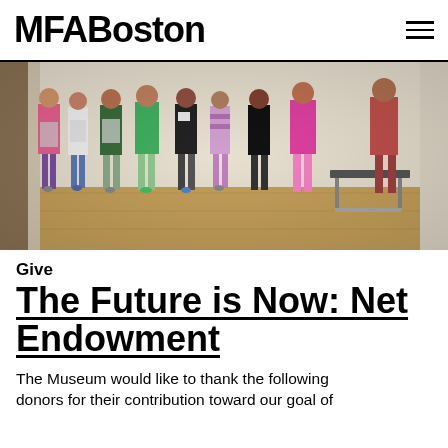MFABoston
[Figure (photo): Children walking through a museum gallery with wooden floors and artwork on the walls]
Give
The Future is Now: Net Endowment
The Museum would like to thank the following donors for their contribution toward our goal of